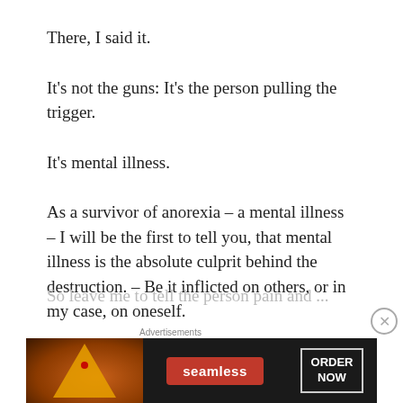There, I said it.
It's not the guns: It's the person pulling the trigger.
It's mental illness.
As a survivor of anorexia – a mental illness – I will be the first to tell you, that mental illness is the absolute culprit behind the destruction. – Be it inflicted on others, or in my case, on oneself.
[Figure (other): Advertisement banner for Seamless food delivery service with pizza image and ORDER NOW button]